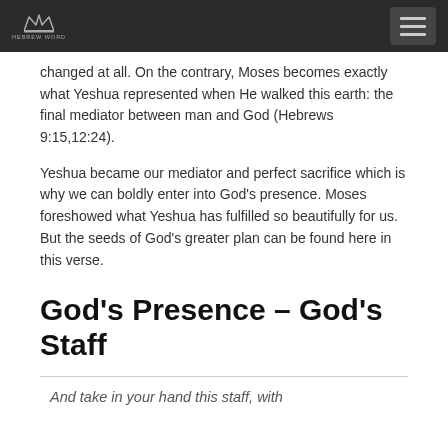HEBREW WORD logo and navigation menu
changed at all. On the contrary, Moses becomes exactly what Yeshua represented when He walked this earth: the final mediator between man and God (Hebrews 9:15,12:24).
Yeshua became our mediator and perfect sacrifice which is why we can boldly enter into God’s presence. Moses foreshowed what Yeshua has fulfilled so beautifully for us. But the seeds of God’s greater plan can be found here in this verse.
God’s Presence – God’s Staff
And take in your hand this staff, with which you shall do the signs.